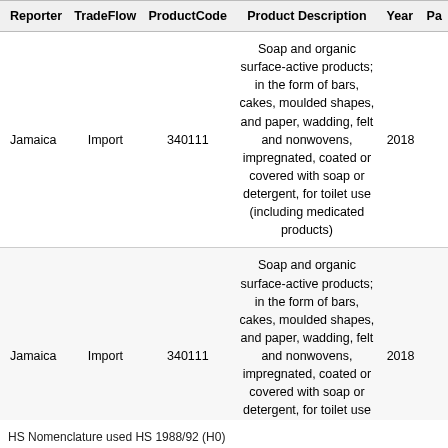| Reporter | TradeFlow | ProductCode | Product Description | Year | Pa |
| --- | --- | --- | --- | --- | --- |
| Jamaica | Import | 340111 | Soap and organic surface-active products; in the form of bars, cakes, moulded shapes, and paper, wadding, felt and nonwovens, impregnated, coated or covered with soap or detergent, for toilet use (including medicated products) | 2018 |  |
| Jamaica | Import | 340111 | Soap and organic surface-active products; in the form of bars, cakes, moulded shapes, and paper, wadding, felt and nonwovens, impregnated, coated or covered with soap or detergent, for toilet use (including medicated products) | 2018 |  |
|  |  |  | Soap and organic surface-active products; in the form of bars, |  |  |
HS Nomenclature used HS 1988/92 (H0)